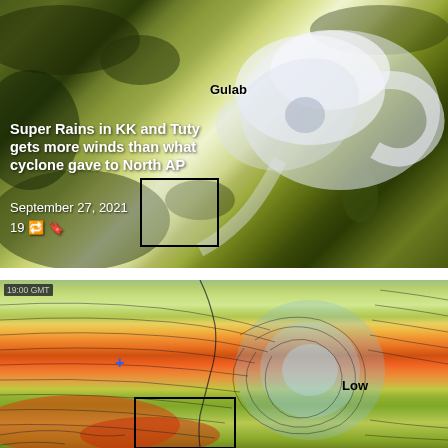[Figure (photo): Satellite image of Cyclone Gulab approaching Indian coast, with label 'Gulab' annotated on the image, showing swirling clouds over the Bay of Bengal and Indian subcontinent. Overlaid with headline text, date, and a black rectangle box marking a region.]
Super Rains in KK and Tuty gets more winds than what cyclone gave to North AP
September 27, 2021
19 🔁 🔖
[Figure (photo): Wind map showing cyclonic circulation over Indian Ocean/Bay of Bengal region with 19:00 GMT timestamp, colorful streamlines indicating wind speed and direction, a blue plus marker, and 'Low' pressure label. A black rectangle box marks a region at the bottom.]